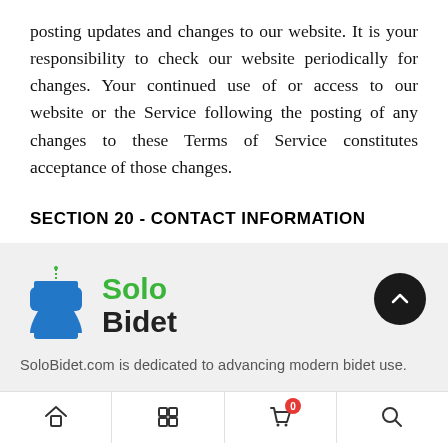posting updates and changes to our website. It is your responsibility to check our website periodically for changes. Your continued use of or access to our website or the Service following the posting of any changes to these Terms of Service constitutes acceptance of those changes.
SECTION 20 - CONTACT INFORMATION
[Figure (logo): Solo Bidet logo — blue toilet icon with water spray, 'Solo' in green bold text and 'Bidet' in black bold text]
SoloBidet.com is dedicated to advancing modern bidet use.
Navigation bar with home, grid, cart (0), and search icons